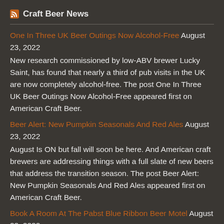Craft Beer News
One In Three UK Beer Outings Now Alcohol-Free August 23, 2022
New research commissioned by low-ABV brewer Lucky Saint, has found that nearly a third of pub visits in the UK are now completely alcohol-free. The post One In Three UK Beer Outings Now Alcohol-Free appeared first on American Craft Beer.
Beer Alert: New Pumpkin Seasonals And Red Ales August 23, 2022
August Is ON but fall will soon be here. And American craft brewers are addressing things with a full slate of new beers that address the transition season. The post Beer Alert: New Pumpkin Seasonals And Red Ales appeared first on American Craft Beer.
Book A Room At The Pabst Blue Ribbon Beer Motel August 22, 2022